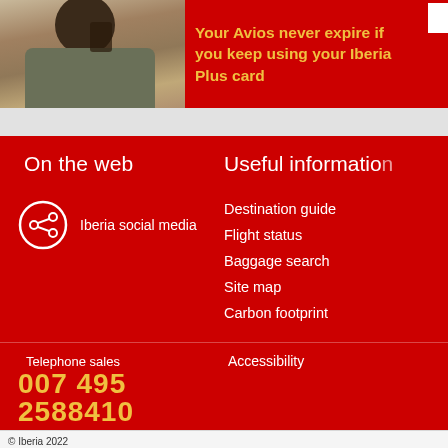[Figure (photo): Person talking on phone, photo used as banner background]
Your Avios never expire if you keep using your Iberia Plus card
On the web
Iberia social media
Useful information
Destination guide
Flight status
Baggage search
Site map
Carbon footprint
Telephone sales
007 495 2588410
Accessibility
© Iberia 2022